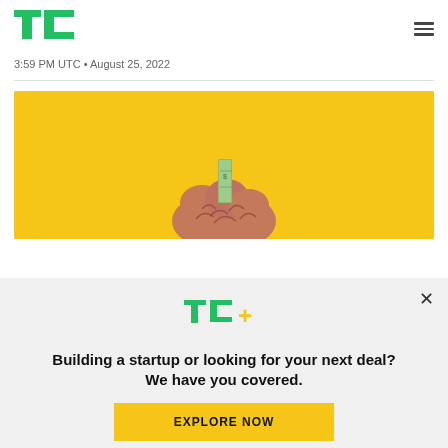TechCrunch logo and navigation
3:59 PM UTC • August 25, 2022
[Figure (photo): Yellow background with a pink brain model holding a dollar bill on top, hero image for article]
[Figure (infographic): TC+ subscription modal overlay with logo, headline 'Building a startup or looking for your next deal? We have you covered.' and EXPLORE NOW button]